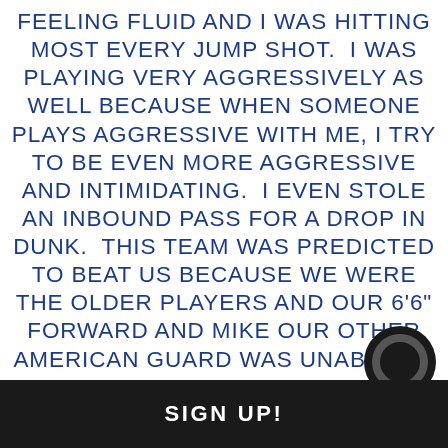FEELING FLUID AND I WAS HITTING MOST EVERY JUMP SHOT. I WAS PLAYING VERY AGGRESSIVELY AS WELL BECAUSE WHEN SOMEONE PLAYS AGGRESSIVE WITH ME, I TRY TO BE EVEN MORE AGGRESSIVE AND INTIMIDATING. I EVEN STOLE AN INBOUND PASS FOR A DROP IN DUNK. THIS TEAM WAS PREDICTED TO BEAT US BECAUSE WE WERE THE OLDER PLAYERS AND OUR 6'6" FORWARD AND MIKE OUR OTHER AMERICAN GUARD WAS UNABLE TO PLAY. BUT WE WON! I DON'T THINK THEY WERE COUNTING ON MY 29 POINTS TO LEAD ALL SCORERS AND OUR 6'5" SMALL FORWARD ADDING 27 I RECALL.
SIGN UP!